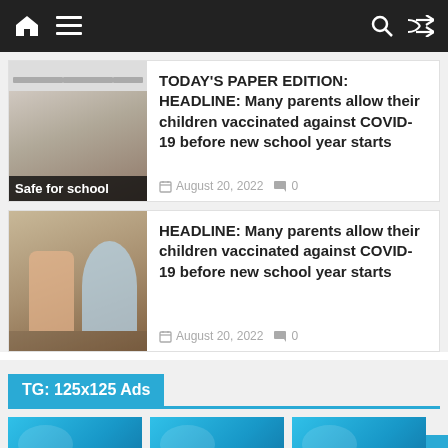Navigation bar with home, menu, search, and shuffle icons
[Figure (photo): Newspaper front page with headline 'Safe for school' showing a person getting vaccinated]
TODAY'S PAPER EDITION: HEADLINE: Many parents allow their children vaccinated against COVID-19 before new school year starts
August 20, 2022  0
[Figure (photo): A child wearing a mask getting vaccinated by a healthcare worker in a blue cap]
HEADLINE: Many parents allow their children vaccinated against COVID-19 before new school year starts
August 20, 2022  0
TG: 125x125 Ads
[Figure (infographic): Three blue ADVERTISE boxes side by side]
[Figure (infographic): Blue ADVERTISE box]
[Figure (infographic): Blue ADVERTISE box]